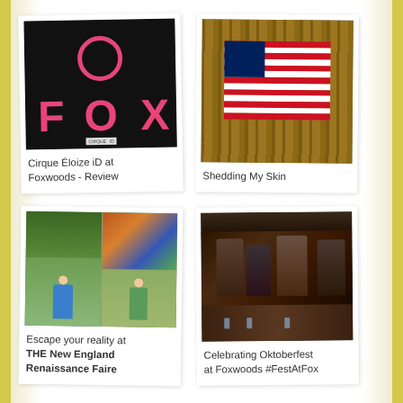[Figure (photo): Polaroid-style card showing the FOX theater marquee sign lit up in pink/red neon letters at night, with 'CIRQUE iD' text visible on a sign below]
Cirque Éloize iD at Foxwoods - Review
[Figure (photo): Polaroid-style card showing an American flag hanging on a rustic wooden barn wall]
Shedding My Skin
[Figure (photo): Polaroid-style card showing two children at what appears to be a Renaissance faire, one in a blue dress and one in a green outfit, surrounded by colorful decorations]
Escape your reality at THE New England Renaissance Faire
[Figure (photo): Polaroid-style card showing people seated at a long dining table at an Oktoberfest event at Foxwoods, in a dimly lit restaurant setting]
Celebrating Oktoberfest at Foxwoods #FestAtFox